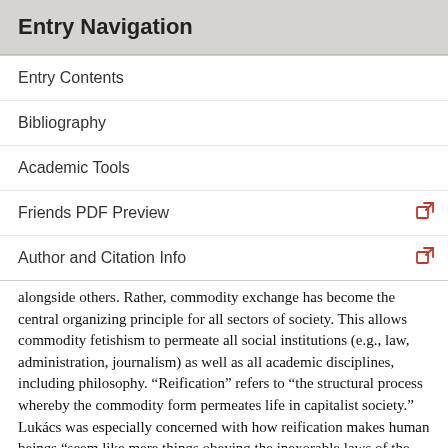Entry Navigation
Entry Contents
Bibliography
Academic Tools
Friends PDF Preview
Author and Citation Info
alongside others. Rather, commodity exchange has become the central organizing principle for all sectors of society. This allows commodity fetishism to permeate all social institutions (e.g., law, administration, journalism) as well as all academic disciplines, including philosophy. “Reification” refers to “the structural process whereby the commodity form permeates life in capitalist society.” Lukács was especially concerned with how reification makes human beings “seem like mere things obeying the inexorable laws of the marketplace” (Zuidervaart 1991, 76).